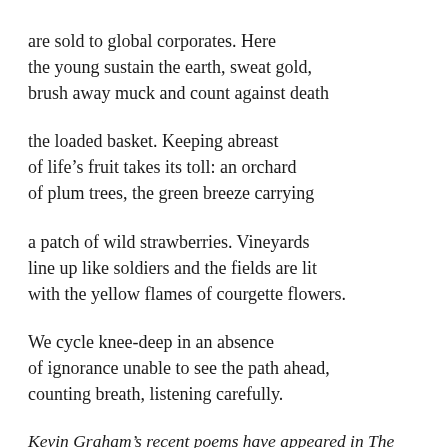are sold to global corporates. Here
the young sustain the earth, sweat gold,
brush away muck and count against death
the loaded basket. Keeping abreast
of life's fruit takes its toll: an orchard
of plum trees, the green breeze carrying
a patch of wild strawberries. Vineyards
line up like soldiers and the fields are lit
with the yellow flames of courgette flowers.
We cycle knee-deep in an absence
of ignorance unable to see the path ahead,
counting breath, listening carefully.
Kevin Graham's recent poems have appeared in The Stinging Fly, Causeway/Cabhsair and Crannóg. He lives and works in Dublin